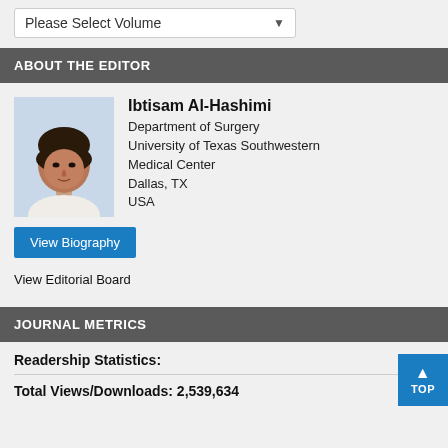Please Select Volume
ABOUT THE EDITOR
[Figure (photo): Headshot photo of Ibtisam Al-Hashimi, a woman with dark hair, professional attire]
Ibtisam Al-Hashimi
Department of Surgery
University of Texas Southwestern Medical Center
Dallas, TX
USA
View Biography
View Editorial Board
JOURNAL METRICS
Readership Statistics:
Total Views/Downloads: 2,539,634